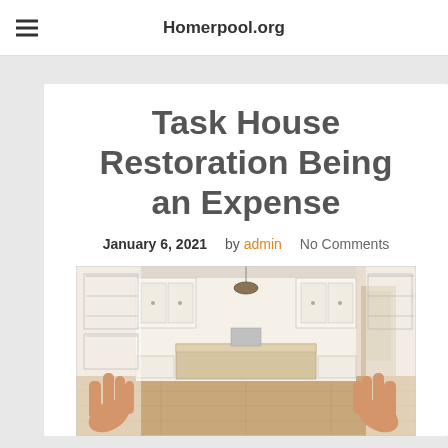Homerpool.org
Task House Restoration Being an Expense
January 6, 2021   by admin   No Comments
[Figure (photo): Kitchen renovation photo showing hands framing a modern kitchen scene, half illustration half photograph]